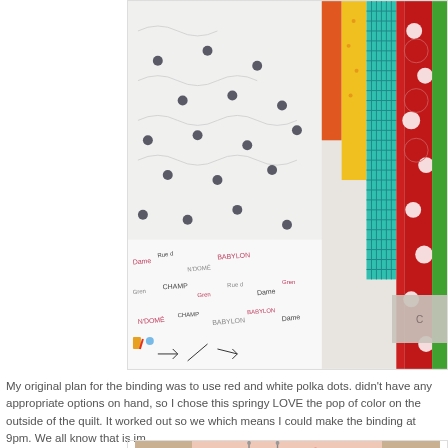[Figure (photo): Close-up photo of a colorful patchwork quilt with various fabric strips including white with black polka dots, orange, yellow, teal grid pattern, red with white polka dots, green, and a fabric with text/lettering. The quilt shows detailed quilting stitches.]
My original plan for the binding was to use red and white polka dots. didn't have any appropriate options on hand, so I chose this springy LOVE the pop of color on the outside of the quilt. It worked out so we which means I could make the binding at 9pm. We all know that is im
[Figure (photo): Partial photo of a quilt hanging on display, showing pink/peach fabric with red polka dots, against a neutral background.]